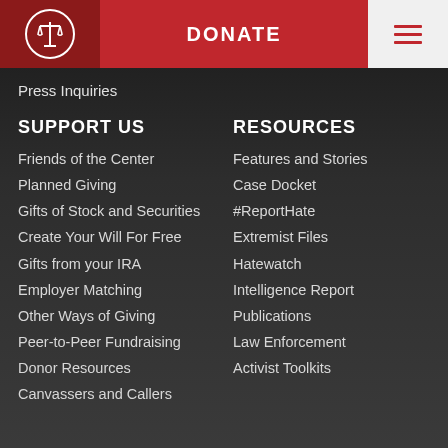DONATE
Press Inquiries
SUPPORT US
Friends of the Center
Planned Giving
Gifts of Stock and Securities
Create Your Will For Free
Gifts from your IRA
Employer Matching
Other Ways of Giving
Peer-to-Peer Fundraising
Donor Resources
Canvassers and Callers
RESOURCES
Features and Stories
Case Docket
#ReportHate
Extremist Files
Hatewatch
Intelligence Report
Publications
Law Enforcement
Activist Toolkits